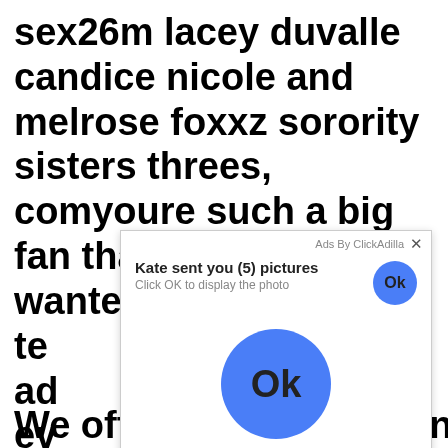sex26m lacey duvalle candice nicole and melrose foxxz sorority sisters threes, comyoure such a big fan that you actually wanted to sign up tea ad ev mo re.
[Figure (screenshot): Ad overlay popup from ClickAdilla: 'Kate sent you (5) pictures — Click OK to display the photo' with a blue Ok button (small, top right) and a large blue Ok button in the center. Footer shows 'a1h'.]
We offer streaming porn